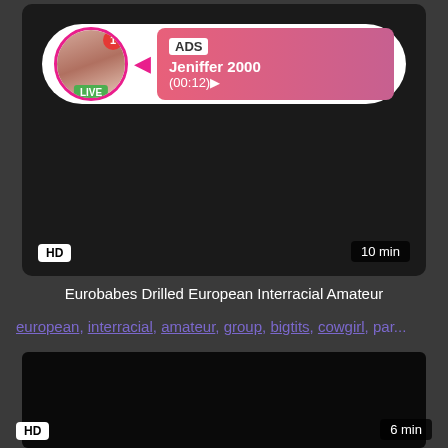[Figure (screenshot): Video thumbnail with ADS overlay showing Jeniffer 2000 live stream notification, HD badge, 10 min duration]
Eurobabes Drilled European Interracial Amateur
european, interracial, amateur, group, bigtits, cowgirl, par...
[Figure (screenshot): Dark/black video thumbnail with HD badge and 6 min duration label]